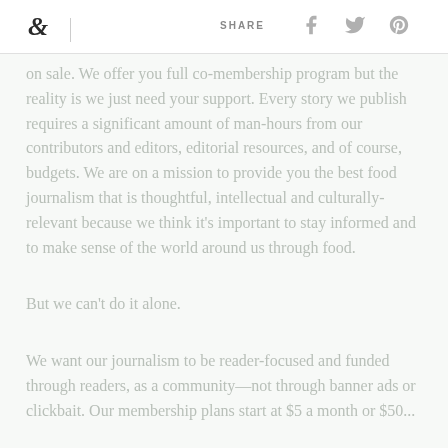& | SHARE
...on sale. We offer you full co-membership program but the reality is we just need your support. Every story we publish requires a significant amount of man-hours from our contributors and editors, editorial resources, and of course, budgets. We are on a mission to provide you the best food journalism that is thoughtful, intellectual and culturally-relevant because we think it's important to stay informed and to make sense of the world around us through food.
But we can't do it alone.
We want our journalism to be reader-focused and funded through readers, as a community—not through banner ads or clickbait. Our membership plans start at $5 a month or $50...